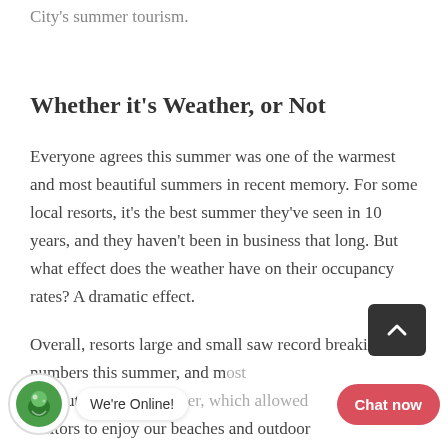City's summer tourism.
Whether it's Weather, or Not
Everyone agrees this summer was one of the warmest and most beautiful summers in recent memory. For some local resorts, it's the best summer they've seen in 10 years, and they haven't been in business that long. But what effect does the weather have on their occupancy rates? A dramatic effect.
Overall, resorts large and small saw record breaking numbers this summer, and m… attribute it to the we… visitors to enjoy our beaches and outdoor